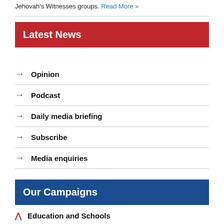Jehovah's Witnesses groups. Read More »
Latest News
→ Opinion
→ Podcast
→ Daily media briefing
→ Subscribe
→ Media enquiries
Our Campaigns
∧ Education and Schools